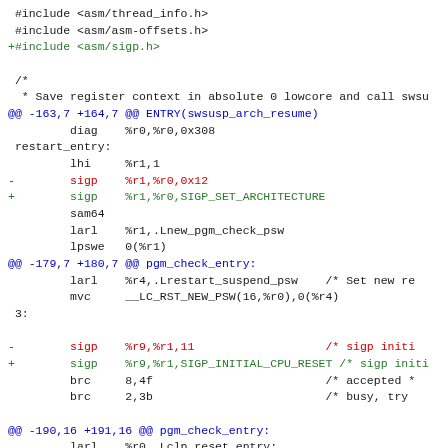[Figure (screenshot): Code diff screenshot showing assembly/C include file changes and assembly code modifications for sigp instructions, replacing numeric opcodes with named constants SIGP_SET_ARCHITECTURE and SIGP_INITIAL_CPU_RESET]